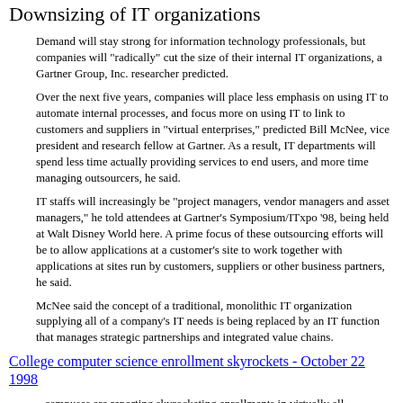internals he wrote probably 75% of the Linux IPv6 stack and was last seen working in the USA for cisco
Downsizing of IT organizations
Demand will stay strong for information technology professionals, but companies will "radically" cut the size of their internal IT organizations, a Gartner Group, Inc. researcher predicted.
Over the next five years, companies will place less emphasis on using IT to automate internal processes, and focus more on using IT to link to customers and suppliers in "virtual enterprises," predicted Bill McNee, vice president and research fellow at Gartner. As a result, IT departments will spend less time actually providing services to end users, and more time managing outsourcers, he said.
IT staffs will increasingly be "project managers, vendor managers and asset managers," he told attendees at Gartner's Symposium/ITxpo '98, being held at Walt Disney World here. A prime focus of these outsourcing efforts will be to allow applications at a customer's site to work together with applications at sites run by customers, suppliers or other business partners, he said.
McNee said the concept of a traditional, monolithic IT organization supplying all of a company's IT needs is being replaced by an IT function that manages strategic partnerships and integrated value chains.
College computer science enrollment skyrockets - October 22 1998
...campuses are reporting skyrocketing enrollments in virtually all computer-related fields. Many schools have reported increases in IT enrollments by 40% or more within two years. Some say their enrollments are doubling. And schools such as Berkeley are seeing a critical shortage of qualified teachers.